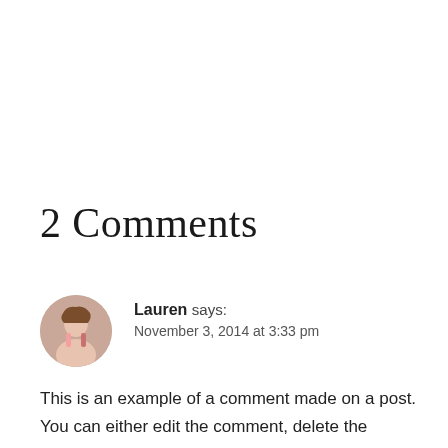2 Comments
Lauren says:
November 3, 2014 at 3:33 pm
This is an example of a comment made on a post. You can either edit the comment, delete the